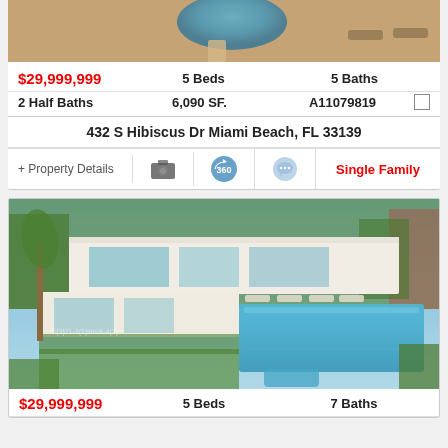[Figure (photo): Aerial/top view of a luxury property pool area with tan/terracotta tiles and circular pool]
$29,999,999
5 Beds
5 Baths
2 Half Baths
6,090 SF.
A11079819
432 S Hibiscus Dr Miami Beach, FL 33139
+ Property Details
Single Family
[Figure (photo): Aerial view of a modern luxury white flat-roofed mansion with large swimming pool, surrounded by tropical landscaping]
$29,999,999
5 Beds
7 Baths